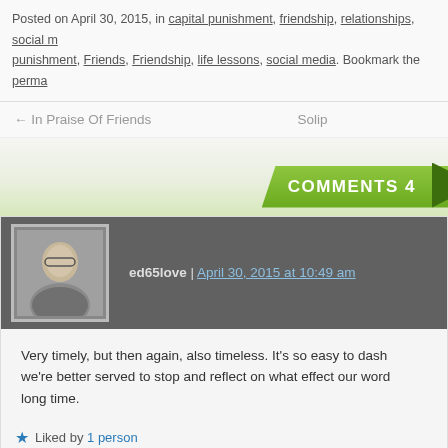Posted on April 30, 2015, in capital punishment, friendship, relationships, social m… punishment, Friends, Friendship, life lessons, social media. Bookmark the perma…
← In Praise Of Friends    Solip…
COMMENTS 4
ed65love | April 30, 2015 at 10:49 am
Very timely, but then again, also timeless. It's so easy to dash… we're better served to stop and reflect on what effect our word… long time.
★ Liked by 1 person
Kym Bidstrup | April 30, 2015 at 4:06 pm